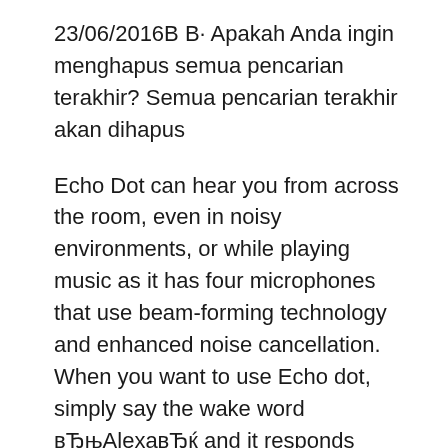23/06/2016В В· Apakah Anda ingin menghapus semua pencarian terakhir? Semua pencarian terakhir akan dihapus
Echo Dot can hear you from across the room, even in noisy environments, or while playing music as it has four microphones that use beam-forming technology and enhanced noise cancellation. When you want to use Echo dot, simply say the wake word вЂњAlexaвЂќ and it responds instantly. Amazon Echo (2nd Generation, Gray) overview and full product specs on CNET.
05/11/2016В В· How To Setup And Use The Amazon Echo Dot And Most Alexa Devices - Duration: 8:54. Tech Steve 891,042 views